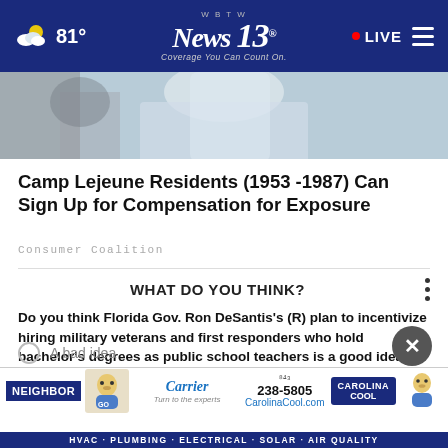81° WBTW News 13 Coverage You Can Count On. • LIVE
[Figure (photo): Partial photo of a person wearing a white and blue outfit, cropped]
Camp Lejeune Residents (1953 -1987) Can Sign Up for Compensation for Exposure
Consumer Coalition
WHAT DO YOU THINK?
Do you think Florida Gov. Ron DeSantis's (R) plan to incentivize hiring military veterans and first responders who hold bachelor's degrees as public school teachers is a good idea or a bad idea?
A good idea
A
A bad idea
[Figure (screenshot): Advertisement banner for Carrier / Carolina Cool HVAC, Plumbing, Electrical, Solar, Air Quality. Phone: 843-238-5805, website CarolinaCool.com]